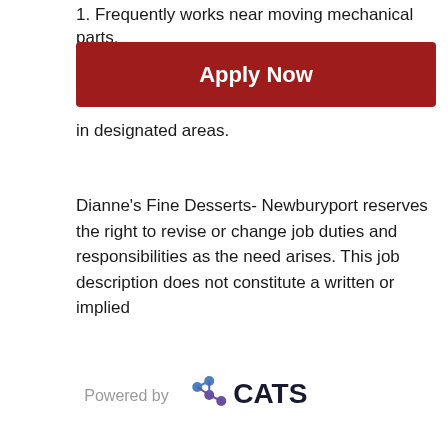1. Frequently works near moving mechanical parts.
[Figure (other): Apply Now button - red/dark red rectangular button with white bold text 'Apply Now']
in designated areas.
Dianne’s Fine Desserts- Newburyport reserves the right to revise or change job duties and responsibilities as the need arises. This job description does not constitute a written or implied
[Figure (logo): Powered by CATS logo - grey 'Powered by' text followed by CATS logo with blue interconnected dots and 'CATS' in dark text]